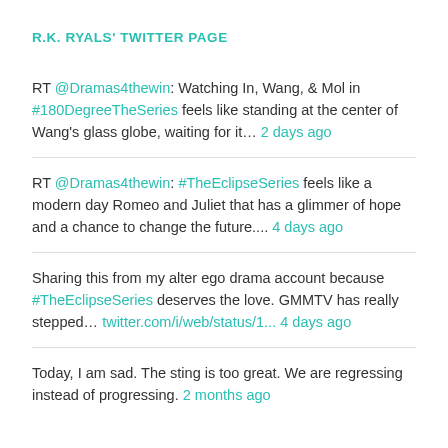R.K. RYALS' TWITTER PAGE
RT @Dramas4thewin: Watching In, Wang, & Mol in #180DegreeTheSeries feels like standing at the center of Wang's glass globe, waiting for it… 2 days ago
RT @Dramas4thewin: #TheEclipseSeries feels like a modern day Romeo and Juliet that has a glimmer of hope and a chance to change the future.... 4 days ago
Sharing this from my alter ego drama account because #TheEclipseSeries deserves the love. GMMTV has really stepped… twitter.com/i/web/status/1... 4 days ago
Today, I am sad. The sting is too great. We are regressing instead of progressing. 2 months ago